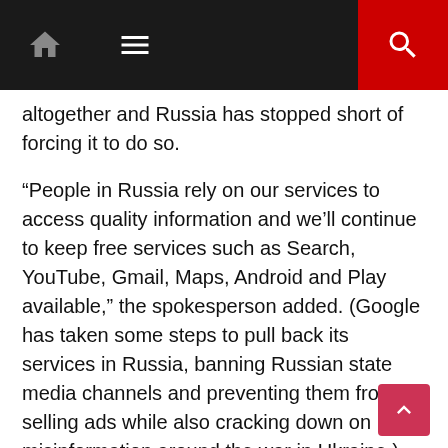Navigation bar with home icon, menu icon, and search icon
altogether and Russia has stopped short of forcing it to do so.
“People in Russia rely on our services to access quality information and we’ll continue to keep free services such as Search, YouTube, Gmail, Maps, Android and Play available,” the spokesperson added. (Google has taken some steps to pull back its services in Russia, banning Russian state media channels and preventing them from selling ads while also cracking down on misinformation around the war in Ukraine.)
Meanwhile, Russia’s minister of digital development, Maksut Shadayev, ruled out a total ban on YouTube — one of Russia’s most popular online services. “We are not planning